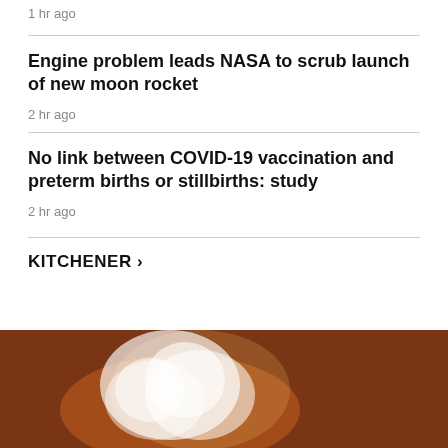1 hr ago
Engine problem leads NASA to scrub launch of new moon rocket
2 hr ago
No link between COVID-19 vaccination and preterm births or stillbirths: study
2 hr ago
KITCHENER >
[Figure (photo): Smoke and orange glow, appears to be fire or rocket exhaust, dark reddish-brown background]